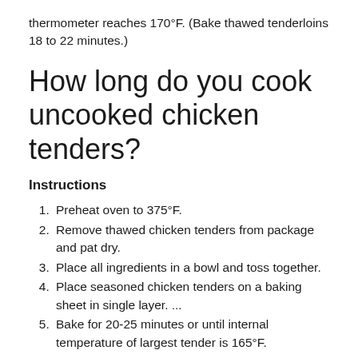thermometer reaches 170°F. (Bake thawed tenderloins 18 to 22 minutes.)
How long do you cook uncooked chicken tenders?
Instructions
Preheat oven to 375°F.
Remove thawed chicken tenders from package and pat dry.
Place all ingredients in a bowl and toss together.
Place seasoned chicken tenders on a baking sheet in single layer. ...
Bake for 20-25 minutes or until internal temperature of largest tender is 165°F.